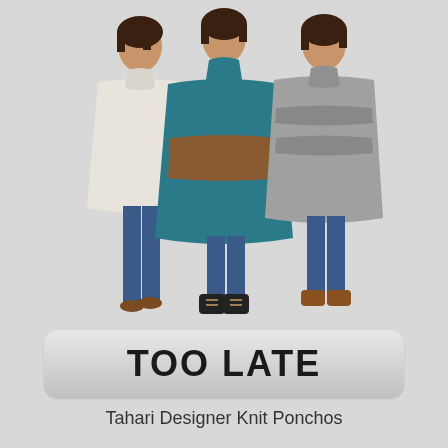[Figure (photo): Three women standing side by side, each wearing a different knit poncho. Left woman wears a cream/beige poncho with jeans and brown boots. Center woman wears a teal/brown striped poncho with jeans and black winter boots. Right woman wears a gray striped poncho with jeans and brown boots.]
TOO LATE
Tahari Designer Knit Ponchos